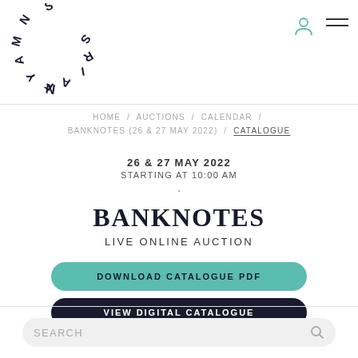[Figure (logo): Mayfair circular logo with letters arranged in a circle]
HOME / AUCTIONS / CALENDAR / BANKNOTES (26 & 27 MAY 2022) / CATALOGUE
26 & 27 MAY 2022
STARTING AT 10:00 AM
BANKNOTES
LIVE ONLINE AUCTION
DOWNLOAD CATALOGUE PDF
VIEW DIGITAL CATALOGUE
SEARCH